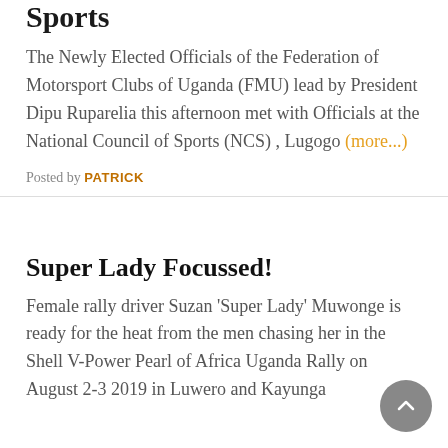Sports
The Newly Elected Officials of the Federation of Motorsport Clubs of Uganda (FMU) lead by President Dipu Ruparelia this afternoon met with Officials at the National Council of Sports (NCS) , Lugogo (more...)
Posted by PATRICK
Super Lady Focussed!
Female rally driver Suzan 'Super Lady' Muwonge is ready for the heat from the men chasing her in the Shell V-Power Pearl of Africa Uganda Rally on August 2-3 2019 in Luwero and Kayunga